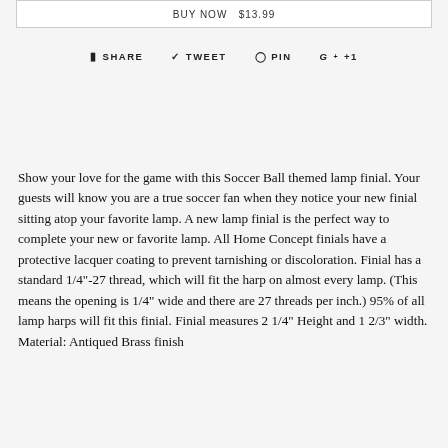BUY NOW $13.99
SHARE   TWEET   PIN   +1
Show your love for the game with this Soccer Ball themed lamp finial. Your guests will know you are a true soccer fan when they notice your new finial sitting atop your favorite lamp. A new lamp finial is the perfect way to complete your new or favorite lamp. All Home Concept finials have a protective lacquer coating to prevent tarnishing or discoloration. Finial has a standard 1/4"-27 thread, which will fit the harp on almost every lamp. (This means the opening is 1/4" wide and there are 27 threads per inch.) 95% of all lamp harps will fit this finial. Finial measures 2 1/4" Height and 1 2/3" width. Material: Antiqued Brass finish